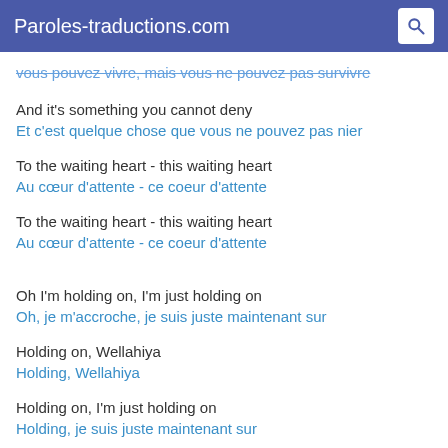Paroles-traductions.com
vous pouvez vivre, mais vous ne pouvez pas survivre
And it's something you cannot deny
Et c'est quelque chose que vous ne pouvez pas nier
To the waiting heart - this waiting heart
Au cœur d'attente - ce coeur d'attente
To the waiting heart - this waiting heart
Au cœur d'attente - ce coeur d'attente
Oh I'm holding on, I'm just holding on
Oh, je m'accroche, je suis juste maintenant sur
Holding on, Wellahiya
Holding, Wellahiya
Holding on, I'm just holding on
Holding, je suis juste maintenant sur
Holding on, Wellahiya
Holding, Wellahiya